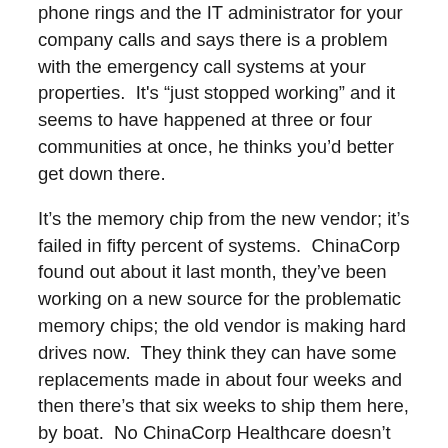phone rings and the IT administrator for your company calls and says there is a problem with the emergency call systems at your properties.  It's “just stopped working” and it seems to have happened at three or four communities at once, he thinks you’d better get down there.
It’s the memory chip from the new vendor; it’s failed in fifty percent of systems.  ChinaCorp found out about it last month, they’ve been working on a new source for the problematic memory chips; the old vendor is making hard drives now.  They think they can have some replacements made in about four weeks and then there’s that six weeks to ship them here, by boat.  No ChinaCorp Healthcare doesn’t have an Engineer that can come over and take a look, no they don’t care that you’re inconvenienced, no they can’t find a temporary solution, no they don’t care when you talk to their technical support representative in